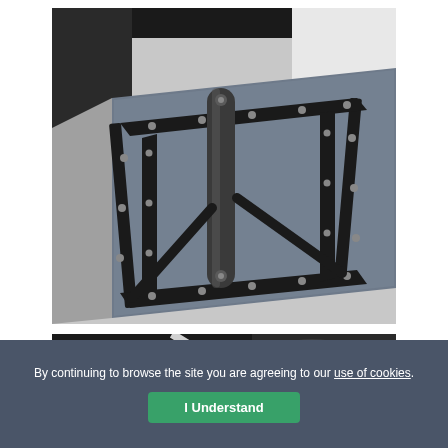[Figure (photo): Close-up photo of a folding metal frame mechanism mounted on a grey carpeted board. The frame has black metal straps with silver rivets/bolts arranged in a rectangular pattern, with a central folding bar/handle in the middle. The board appears to be a platform or step covered in grey carpet, with a silver metal edge visible on the left side.]
[Figure (photo): Partial photo (cropped at bottom) showing what appears to be another view of a similar mechanical assembly, visible against a dark background.]
By continuing to browse the site you are agreeing to our use of cookies.
I Understand